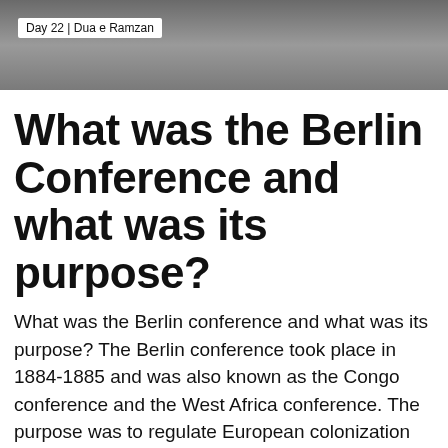[Figure (photo): Photo of a person in dark clothing with blurred crowd background, overlaid with a white label reading 'Day 22 | Dua e Ramzan']
What was the Berlin Conference and what was its purpose?
What was the Berlin conference and what was its purpose? The Berlin conference took place in 1884-1885 and was also known as the Congo conference and the West Africa conference. The purpose was to regulate European colonization and trade in Africa during the New Imperialism period.
What was the impact of the Berlin